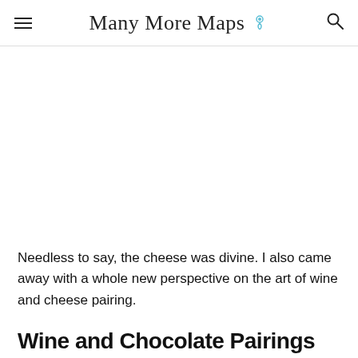Many More Maps
Needless to say, the cheese was divine. I also came away with a whole new perspective on the art of wine and cheese pairing.
Wine and Chocolate Pairings